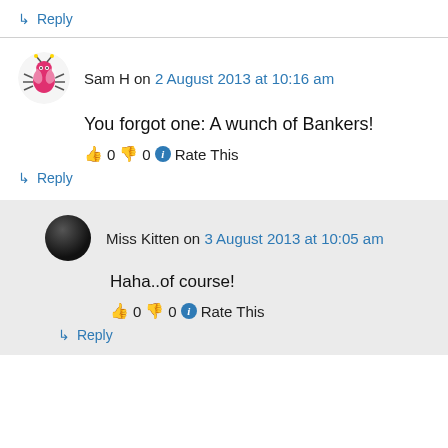↳ Reply
Sam H on 2 August 2013 at 10:16 am
You forgot one: A wunch of Bankers!
👍 0 👎 0 ℹ Rate This
↳ Reply
Miss Kitten on 3 August 2013 at 10:05 am
Haha..of course!
👍 0 👎 0 ℹ Rate This
↳ Reply